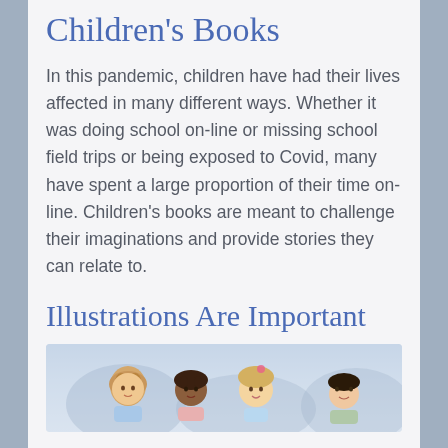Children's Books
In this pandemic, children have had their lives affected in many different ways. Whether it was doing school on-line or missing school field trips or being exposed to Covid, many have spent a large proportion of their time on-line. Children’s books are meant to challenge their imaginations and provide stories they can relate to.
Illustrations Are Important
[Figure (illustration): Watercolor illustration of diverse children smiling together, shown from the shoulders up, with soft blue-grey painted background]